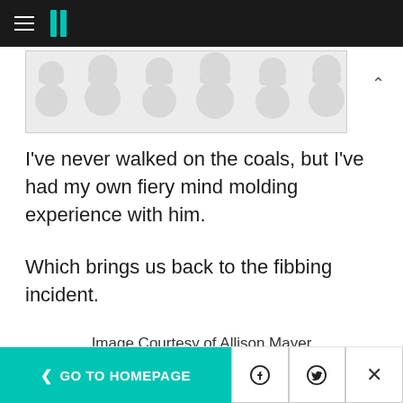HuffPost navigation bar with hamburger menu and logo
[Figure (other): Advertisement or decorative banner with grey dot/bubble pattern on light background]
I've never walked on the coals, but I've had my own fiery mind molding experience with him.
Which brings us back to the fibbing incident.
Image Courtesy of Allison Mayer
I was setting my small audio recording device down next to us, and the formidable billionaire in
< GO TO HOMEPAGE  [Facebook icon]  [Twitter icon]  [X/Close icon]